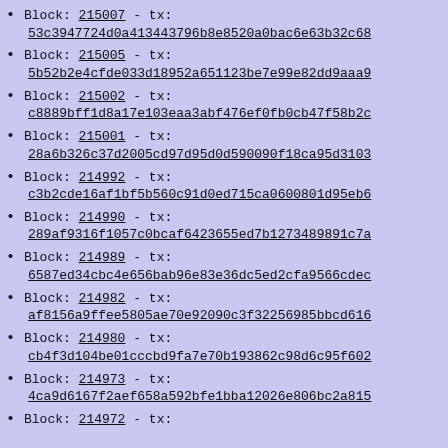Block: 215007 - tx: 53c3947724d0a413443796b8e8520a0bac6e63b32c68
Block: 215005 - tx: 5b52b2e4cfde033d18952a651123be7e99e82dd9aaa9
Block: 215002 - tx: c8889bff1d8a17e103eaa3abf476ef0fb0cb47f58b2c
Block: 215001 - tx: 28a6b326c37d2005cd97d95d0d590090f18ca95d3103
Block: 214992 - tx: c3b2cde16af1bf5b560c91d0ed715ca0600801d95eb6
Block: 214990 - tx: 289af9316f1057c0bcaf6423655ed7b1273489891c7a
Block: 214989 - tx: 6587ed34cbc4e656bab96e83e36dc5ed2cfa9566cdec
Block: 214982 - tx: af8156a9ffee5805ae70e92090c3f32256985bbcd616
Block: 214980 - tx: cb4f3d104be01cccbd9fa7e70b193862c98d6c95f602
Block: 214973 - tx: 4ca9d6167f2aef658a592bfe1bba12026e806bc2a815
Block: 214972 - tx: